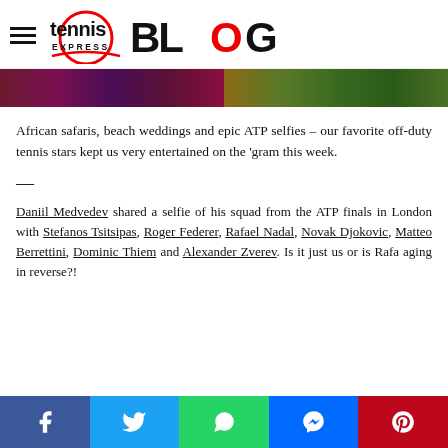tennis EXPRESS BLOG
[Figure (photo): Two cropped image strips side by side — left shows colorful fabric/clothing in purple/red tones, right shows outdoor greenery/foliage]
African safaris, beach weddings and epic ATP selfies – our favorite off-duty tennis stars kept us very entertained on the 'gram this week.
—
Daniil Medvedev shared a selfie of his squad from the ATP finals in London with Stefanos Tsitsipas, Roger Federer, Rafael Nadal, Novak Djokovic, Matteo Berrettini, Dominic Thiem and Alexander Zverev. Is it just us or is Rafa aging in reverse?!
Facebook Twitter WhatsApp Messenger Pinterest